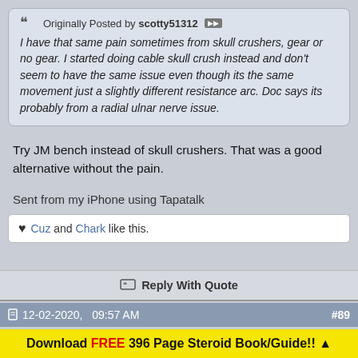Originally Posted by scotty51312
I have that same pain sometimes from skull crushers, gear or no gear. I started doing cable skull crush instead and don't seem to have the same issue even though its the same movement just a slightly different resistance arc. Doc says its probably from a radial ulnar nerve issue.
Try JM bench instead of skull crushers. That was a good alternative without the pain.
Sent from my iPhone using Tapatalk
Cuz and Chark like this.
Reply With Quote
12-02-2020,   09:57 AM   #89
Download FREE 396 Page Steroid Book/Guide!! ▲